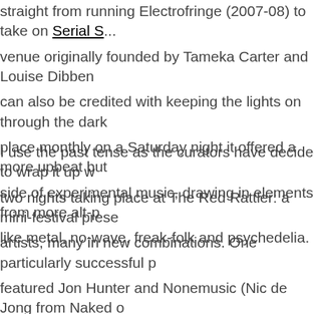straight from running Electrofringe (2007-08) to take on Serial S... venue originally founded by Tameka Carter and Louise Dibben can also be credited with keeping the lights on through the dark place monthly on a Saturday night it offered a more upbeat but side of experimental music, drawing in elements from more alt-p like metal, no-wave, freak-folk and psychedelia.
I use the past tense as the curators have decided to wrap it up w two nights taking place at The Red Rattler: a mini-festival prese artists, many in new combinations. One particularly successful p featured Jon Hunter and Nonemusic (Nic de Jong from Naked o playing a sustained guitar epiphany. For the majority of the piec focused on a detuned arpeggio loaded with delay to create an e sea of notes. Hunter exacted astounding sounds from his guitar water, banshee howling and a truly bone-chilling wooden creaki in the process of breaking up. The cohesion between the two lo morphed into a kind of broken pop song, but overall we witness meeting of minds and guitars.